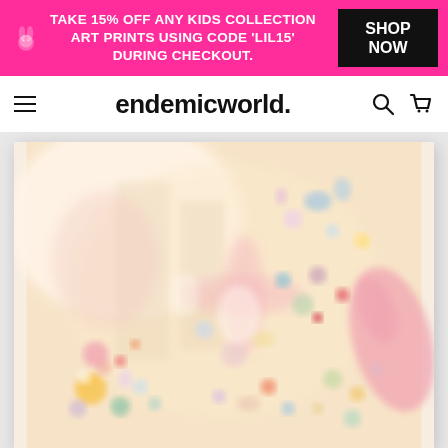[Figure (infographic): Pink promotional banner with rabbit icon, white bold text reading 'TAKE 15% OFF ANY KIDS COLLECTION ART PRINTS USING CODE LIL15 DURING CHECKOUT.' and a black SHOP NOW button on the right]
endemicworld.
[Figure (photo): Abstract painting with pastel peach/cream background featuring soft scattered colorful circles, ovals, and blob shapes in pink, blue, yellow, purple, orange, and red tones with pale geometric shapes in the background]